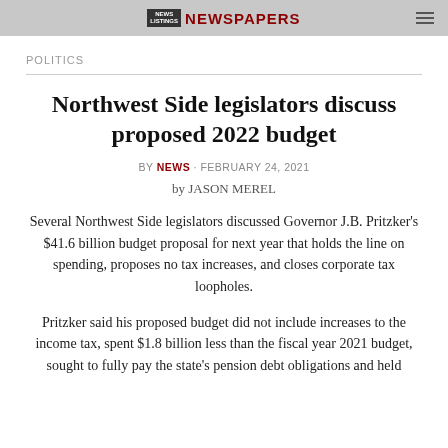NEWS LISTINGS | NEWSPAPERS
POLITICS
Northwest Side legislators discuss proposed 2022 budget
BY NEWS · FEBRUARY 24, 2021
by JASON MEREL
Several Northwest Side legislators discussed Governor J.B. Pritzker's $41.6 billion budget proposal for next year that holds the line on spending, proposes no tax increases, and closes corporate tax loopholes.
Pritzker said his proposed budget did not include increases to the income tax, spent $1.8 billion less than the fiscal year 2021 budget, sought to fully pay the state's pension debt obligations and held